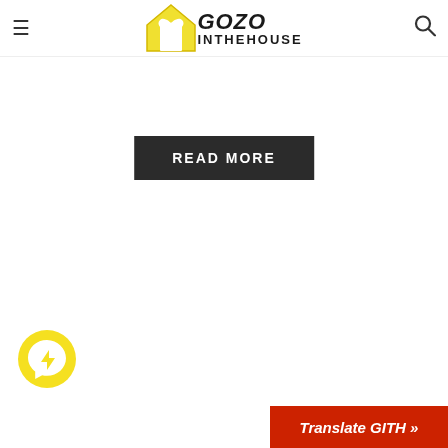Gozo In The House - navigation header with logo, hamburger menu and search icon
READ MORE
[Figure (logo): Gozo In The House logo with yellow house outline and Messenger chat button]
Translate GITH »